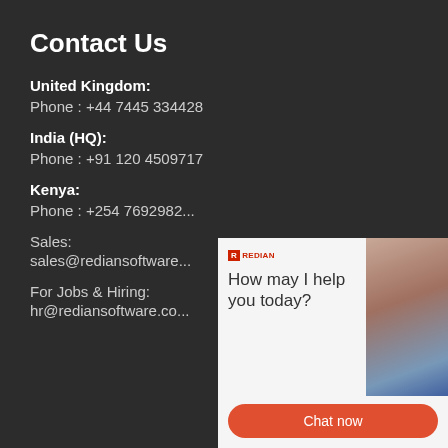Contact Us
United Kingdom:
Phone : +44 7445 334428
India (HQ):
Phone : +91 120 4509717
Kenya:
Phone : +254 7692982...
Sales:
sales@rediansoftware...
For Jobs & Hiring:
hr@rediansoftware.co...
[Figure (screenshot): Chat widget overlay with logo, 'How may I help you today?' text, a customer service agent photo, and a 'Chat now' button]